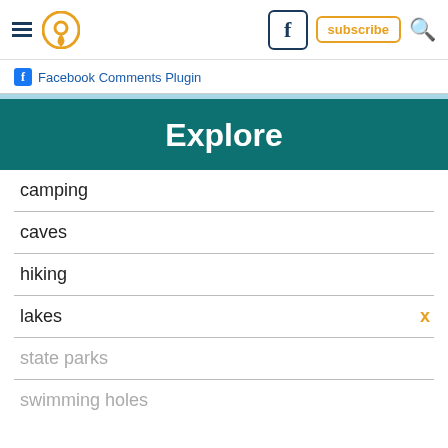Navigation header with hamburger menu, location pin icon, Facebook icon, subscribe button, search icon
Facebook Comments Plugin
Explore
camping
caves
hiking
lakes
state parks
swimming holes